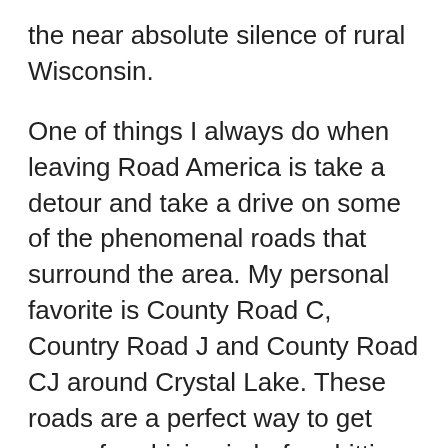the near absolute silence of rural Wisconsin.
One of things I always do when leaving Road America is take a detour and take a drive on some of the phenomenal roads that surround the area. My personal favorite is County Road C, Country Road J and County Road CJ around Crystal Lake. These roads are a perfect way to get some fun driving in before hitting the bland interstates on the way back Minneapolis. After the trip around Crystal Lake it's time to head westward back towards Minnesota. A usual stop at the McDonald's in Fond du Lac is in store before topping off with gas and hitting